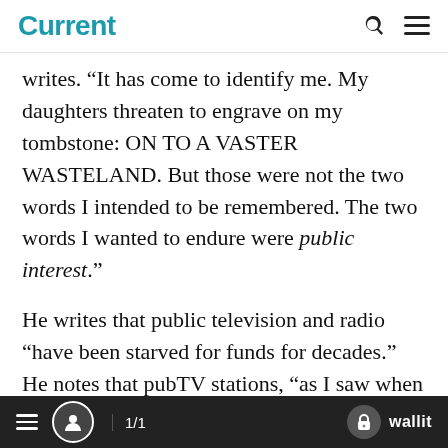Current
writes. “It has come to identify me. My daughters threaten to engrave on my tombstone: ON TO A VASTER WASTELAND. But those were not the two words I intended to be remembered. The two words I wanted to endure were public interest.”
He writes that public television and radio “have been starved for funds for decades.” He notes that pubTV stations, “as I saw when I was chairman of PBS, are overbuilt
1/1  wallit